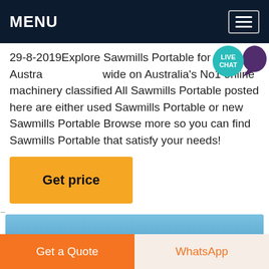MENU
29-8-2019Explore Sawmills Portable for sale Australia wide on Australia's No1 online machinery classified All Sawmills Portable posted here are either used Sawmills Portable or new Sawmills Portable Browse more so you can find Sawmills Portable that satisfy your needs!
[Figure (other): Live Chat speech bubble icon with teal circle labeled LIVE CHAT and purple speech bubble tail]
[Figure (other): Get price button — yellow/amber rectangular button]
[Figure (photo): Blue gradient sky image]
[Figure (other): Bottom CTA bar with orange Get a Quote button and light Get a Quote/WhatsApp button]